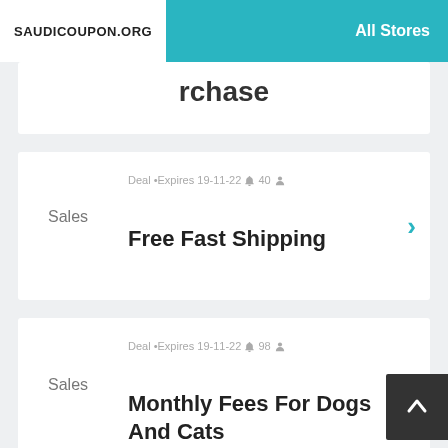SAUDICOUPON.ORG   All Stores
rchase
Deal • Expires 19-11-22 🔔 40 👤
Sales
Free Fast Shipping
Deal • Expires 19-11-22 🔔 98 👤
Sales
Monthly Fees For Dogs And Cats
Deal • Expires 19-11-22 🔔 99 👤